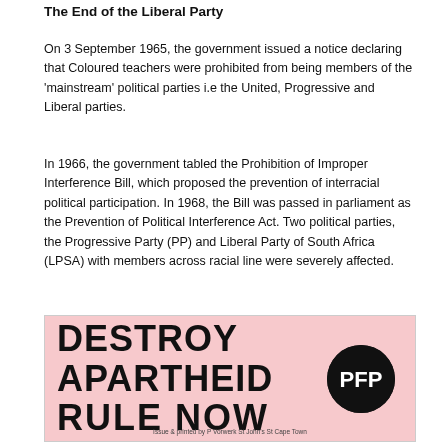The End of the Liberal Party
On 3 September 1965, the government issued a notice declaring that Coloured teachers were prohibited from being members of the 'mainstream' political parties i.e the United, Progressive and Liberal parties.
In 1966, the government tabled the Prohibition of Improper Interference Bill, which proposed the prevention of interracial political participation. In 1968, the Bill was passed in parliament as the Prevention of Political Interference Act. Two political parties, the Progressive Party (PP) and Liberal Party of South Africa (LPSA) with members across racial line were severely affected.
[Figure (photo): A pink PFP political pamphlet/banner reading 'DESTROY APARTHEID RULE NOW' in large bold black text with the PFP logo (a circle with 'PFP' text) on the right side. Small text at the bottom reads: Issue & printed by P Vorwerk St John's St Cape Town]